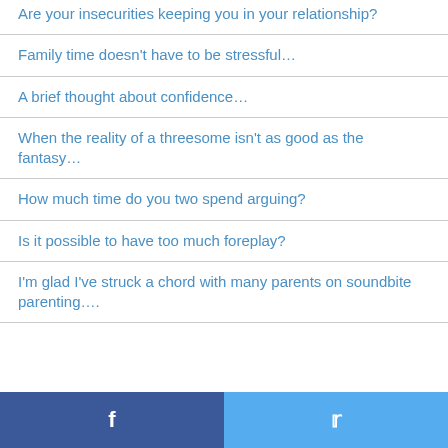Are your insecurities keeping you in your relationship?
Family time doesn't have to be stressful…
A brief thought about confidence…
When the reality of a threesome isn't as good as the fantasy…
How much time do you two spend arguing?
Is it possible to have too much foreplay?
I'm glad I've struck a chord with many parents on soundbite parenting….
Facebook | Twitter